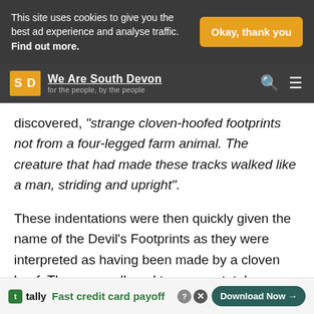This site uses cookies to give you the best ad experience and analyse traffic. Find out more.
Okay, thank you
[Figure (logo): We Are South Devon logo with SD orange square badge and tagline 'for the people, by the people']
discovered, “strange cloven-hoofed footprints not from a four-legged farm animal. The creature that had made these tracks walked like a man, striding and upright”.
These indentations were then quickly given the name of the Devil’s Footprints as they were interpreted as having been made by a cloven hoof. They were alleged to cover a total distance of between 40 and 100 miles – the footprints, “measured around four inches long, three inche nd were n
[Figure (screenshot): Tally advertisement banner: Fast credit card payoff, Download Now button]